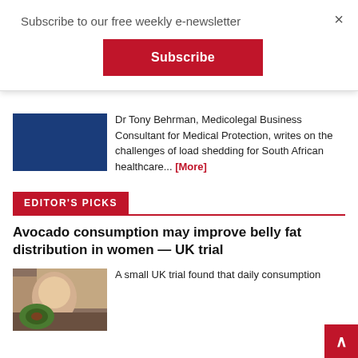Subscribe to our free weekly e-newsletter
Subscribe
×
Dr Tony Behrman, Medicolegal Business Consultant for Medical Protection, writes on the challenges of load shedding for South African healthcare... [More]
EDITOR'S PICKS
Avocado consumption may improve belly fat distribution in women — UK trial
[Figure (photo): Woman eating avocado]
A small UK trial found that daily consumption